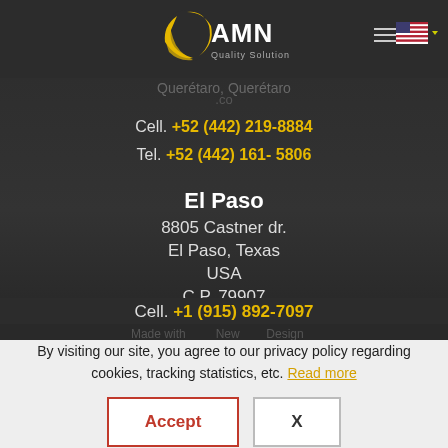[Figure (logo): AMN Quality Solutions logo with yellow circle/globe graphic and text]
Querétaro, Querétaro
Cell. +52 (442) 219-8884
Tel. +52 (442) 161- 5806
El Paso
8805 Castner dr.
El Paso, Texas
USA
C.P. 79907
Cell. +1 (915) 892-7097
By visiting our site, you agree to our privacy policy regarding cookies, tracking statistics, etc. Read more